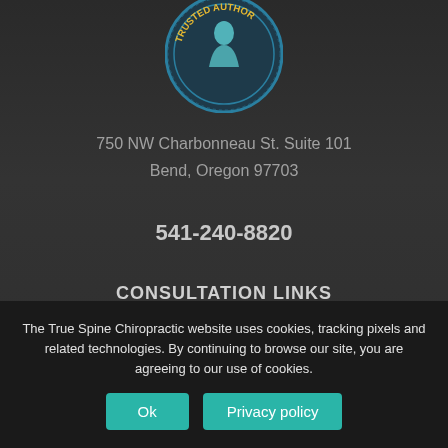[Figure (logo): Trusted Author circular badge/seal with blue border and yellow text, showing a figure inside]
750 NW Charbonneau St. Suite 101
Bend, Oregon 97703
541-240-8820
CONSULTATION LINKS
Book Now
New Patient Consultation
The True Spine Chiropractic website uses cookies, tracking pixels and related technologies. By continuing to browse our site, you are agreeing to our use of cookies.
Ok
Privacy policy
HOURS
MONDAY, THURSDAY
9:00am – 6:00pm